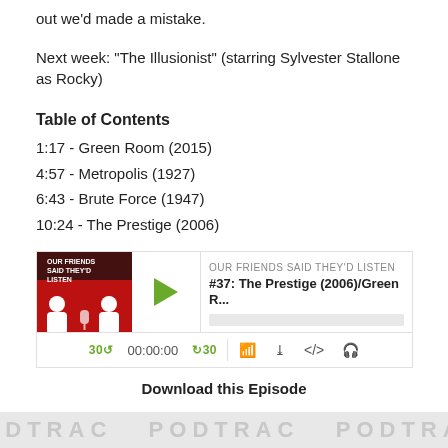out we'd made a mistake.
Next week: "The Illusionist" (starring Sylvester Stallone as Rocky)
Table of Contents
1:17 - Green Room (2015)
4:57 - Metropolis (1927)
6:43 - Brute Force (1947)
10:24 - The Prestige (2006)
[Figure (screenshot): Podcast audio player widget for episode #37: The Prestige (2006)/Green R... from 'Our Friends Said They'd Listen'. Shows thumbnail image with red background and silhouette figures, play button, episode info, progress bar, and controls including 30-second skip back/forward, timestamp 00:00:00, and icons for RSS, download, embed, and headphones.]
Download this Episode
1